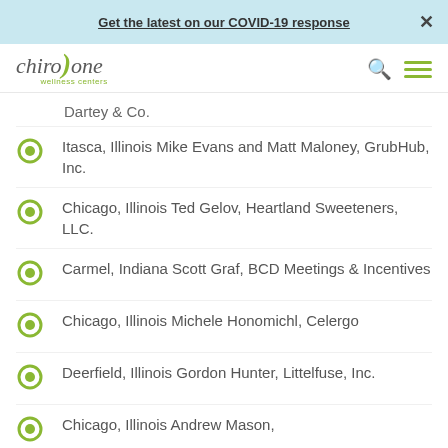Get the latest on our COVID-19 response ×
[Figure (logo): ChiroOne Wellness Centers logo with green accent]
Dartey & Co.
Itasca, Illinois Mike Evans and Matt Maloney, GrubHub, Inc.
Chicago, Illinois Ted Gelov, Heartland Sweeteners, LLC.
Carmel, Indiana Scott Graf, BCD Meetings & Incentives
Chicago, Illinois Michele Honomichl, Celergo
Deerfield, Illinois Gordon Hunter, Littelfuse, Inc.
Chicago, Illinois Andrew Mason,